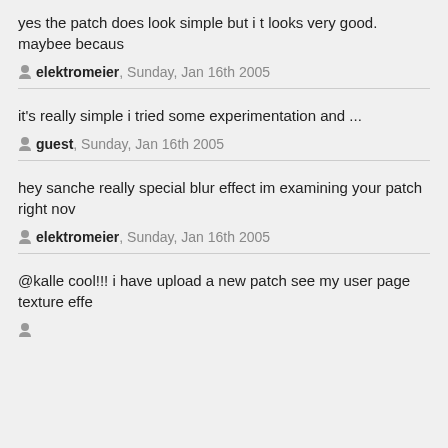yes the patch does look simple but i t looks very good. maybee becaus
elektromeier, Sunday, Jan 16th 2005
it's really simple i tried some experimentation and ...
guest, Sunday, Jan 16th 2005
hey sanche really special blur effect im examining your patch right now
elektromeier, Sunday, Jan 16th 2005
@kalle cool!!! i have upload a new patch see my user page texture effe